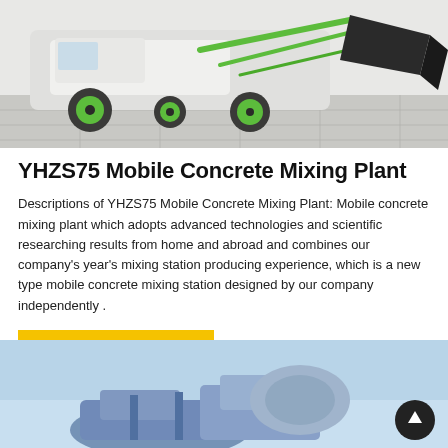[Figure (photo): A self-loading mobile concrete mixing truck/plant with green wheels and a large black bucket loader, photographed on a tiled surface. The machine is white/green colored.]
YHZS75 Mobile Concrete Mixing Plant
Descriptions of YHZS75 Mobile Concrete Mixing Plant: Mobile concrete mixing plant which adopts advanced technologies and scientific researching results from home and abroad and combines our company's year's mixing station producing experience, which is a new type mobile concrete mixing station designed by our company independently .
Learn More
[Figure (photo): Partial view of another concrete mixing machine or equipment against a light blue background, showing mechanical components in blue and grey tones.]